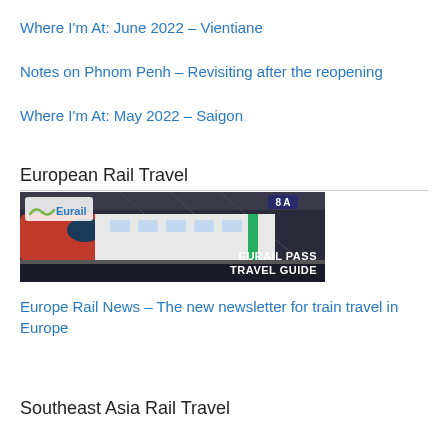Where I'm At: June 2022 – Vientiane
Notes on Phnom Penh – Revisiting after the reopening
Where I'm At: May 2022 – Saigon
European Rail Travel
[Figure (photo): Eurail Pass Travel Guide banner showing a modern red and white train at a station platform with the Eurail logo and text 'EURAIL PASS TRAVEL GUIDE']
Europe Rail News – The new newsletter for train travel in Europe
Southeast Asia Rail Travel